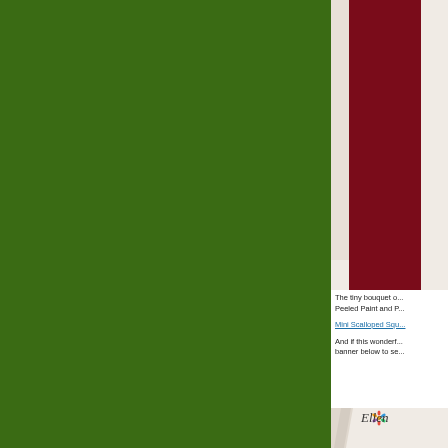[Figure (photo): Large dark green background panel on the left side of the page]
[Figure (photo): Photo of dark red/crimson greeting cards partially opened, standing upright against a white background with a light grey card visible behind]
The tiny bouquet o... Peeled Paint and P...
Mini Scalloped Squ...
And if this wonderf... banner below to se...
[Figure (photo): Signature area with diagonal stripes and a handwritten-style signature with a colorful flower/pinwheel graphic, text reads 'Ellen']